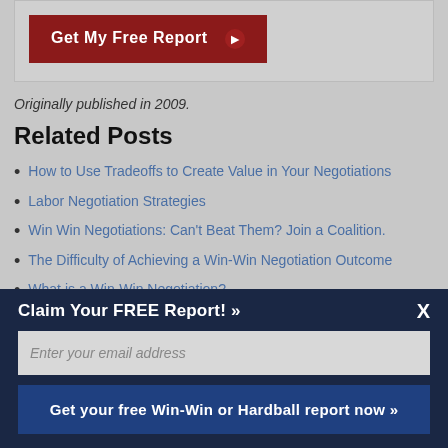[Figure (screenshot): Dark red 'Get My Free Report' button with arrow icon]
Originally published in 2009.
Related Posts
How to Use Tradeoffs to Create Value in Your Negotiations
Labor Negotiation Strategies
Win Win Negotiations: Can't Beat Them? Join a Coalition.
The Difficulty of Achieving a Win-Win Negotiation Outcome
What is a Win-Win Negotiation?
Claim Your FREE Report! »
Enter your email address
Get your free Win-Win or Hardball report now »